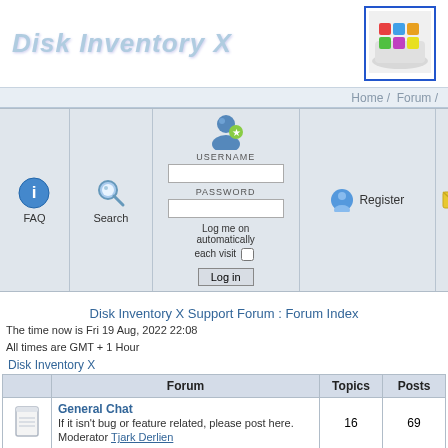Disk Inventory X
[Figure (logo): Disk Inventory X application icon showing colored blocks on white background, inside a blue border]
Home / Forum /
[Figure (screenshot): Login form with USERNAME and PASSWORD fields, Log me on automatically each visit checkbox, and Log in button]
Disk Inventory X Support Forum : Forum Index
The time now is Fri 19 Aug, 2022 22:08
All times are GMT + 1 Hour
Disk Inventory X
|  | Forum | Topics | Posts |
| --- | --- | --- | --- |
| [icon] | General Chat
If it isn't bug or feature related, please post here.
Moderator Tjark Derlien | 16 | 69 |
| [icon] | Feature Requests
Would you like to see some new feature in DIX? Post... |  |  |